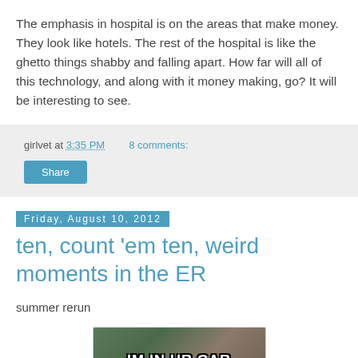The emphasis in hospital is on the areas that make money. They look like hotels. The rest of the hospital is like the ghetto things shabby and falling apart. How far will all of this technology, and along with it money making, go? It will be interesting to see.
girlvet at 3:35 PM   8 comments:
Share
Friday, August 10, 2012
ten, count 'em ten, weird moments in the ER
summer rerun
[Figure (photo): Meme image of a cat in a car with text 'IM IN UR CAR']